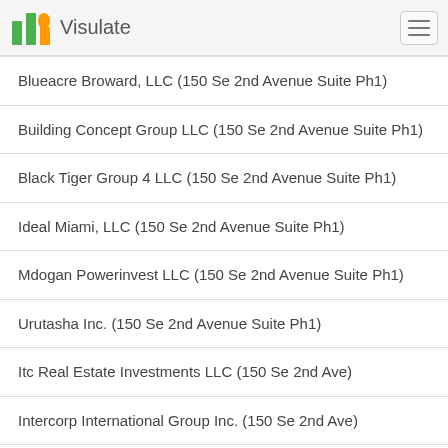Visulate
Blueacre Broward, LLC (150 Se 2nd Avenue Suite Ph1)
Building Concept Group LLC (150 Se 2nd Avenue Suite Ph1)
Black Tiger Group 4 LLC (150 Se 2nd Avenue Suite Ph1)
Ideal Miami, LLC (150 Se 2nd Avenue Suite Ph1)
Mdogan Powerinvest LLC (150 Se 2nd Avenue Suite Ph1)
Urutasha Inc. (150 Se 2nd Avenue Suite Ph1)
Itc Real Estate Investments LLC (150 Se 2nd Ave)
Intercorp International Group Inc. (150 Se 2nd Ave)
City Apartments I, LLC (150 Se 2nd Ave)